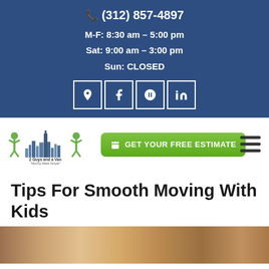(312) 857-4897 | M-F: 8:30 am – 5:00 pm | Sat: 9:00 am – 3:00 pm | Sun: CLOSED
[Figure (logo): 2 Guys and a Van logo with two green figures and Chicago skyline, tagline: Moving Made Simple]
GET YOUR FREE ESTIMATE
Tips For Smooth Moving With Kids
[Figure (photo): Partial photo at bottom of page showing children or people, cropped]